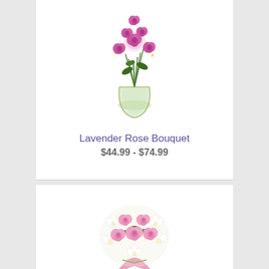[Figure (photo): Pink/lavender roses in a glass vase with small white daisy-like flowers, arranged in a bouquet]
Lavender Rose Bouquet
$44.99 - $74.99
[Figure (photo): Pink roses and white alstroemeria flowers arranged in a round bouquet tied with a pink satin ribbon]